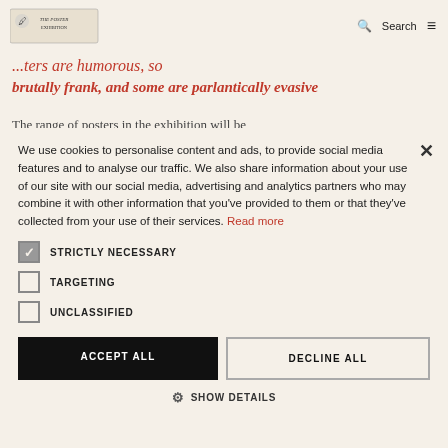Search
brutally frank, and some are parlantically evasive
The range of posters in the exhibition will be
We use cookies to personalise content and ads, to provide social media features and to analyse our traffic. We also share information about your use of our site with our social media, advertising and analytics partners who may combine it with other information that you've provided to them or that they've collected from your use of their services. Read more
STRICTLY NECESSARY
TARGETING
UNCLASSIFIED
ACCEPT ALL
DECLINE ALL
SHOW DETAILS